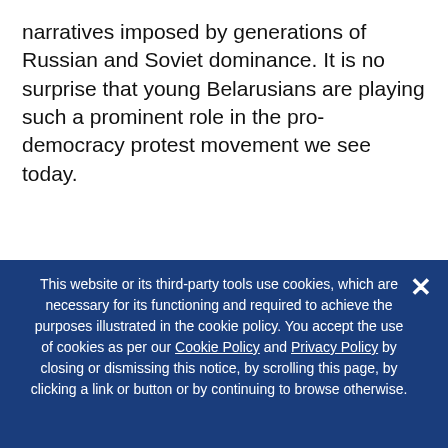narratives imposed by generations of Russian and Soviet dominance. It is no surprise that young Belarusians are playing such a prominent role in the pro-democracy protest movement we see today.
Subscribe for the latest from BelarusAlert
Receive updates for events, news, and publications on Belarus from the Atlantic Council.
This website or its third-party tools use cookies, which are necessary for its functioning and required to achieve the purposes illustrated in the cookie policy. You accept the use of cookies as per our Cookie Policy and Privacy Policy by closing or dismissing this notice, by scrolling this page, by clicking a link or button or by continuing to browse otherwise.